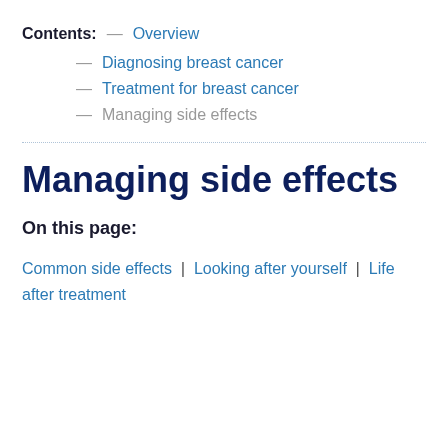Contents: — Overview
— Diagnosing breast cancer
— Treatment for breast cancer
— Managing side effects
Managing side effects
On this page:
Common side effects | Looking after yourself | Life after treatment